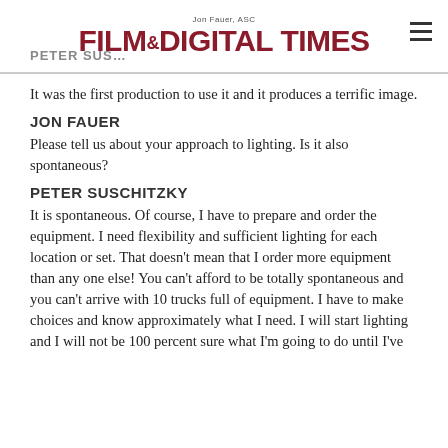Jon Fauer, ASC — FILM AND DIGITAL TIMES
It was the first production to use it and it produces a terrific image.
JON FAUER
Please tell us about your approach to lighting. Is it also spontaneous?
PETER SUSCHITZKY
It is spontaneous. Of course, I have to prepare and order the equipment. I need flexibility and sufficient lighting for each location or set. That doesn't mean that I order more equipment than any one else! You can't afford to be totally spontaneous and you can't arrive with 10 trucks full of equipment. I have to make choices and know approximately what I need. I will start lighting and I will not be 100 percent sure what I'm going to do until I've